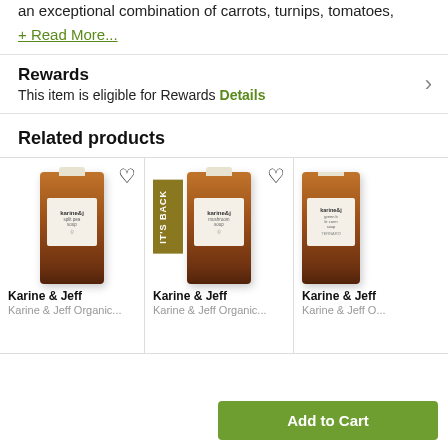an exceptional combination of carrots, turnips, tomatoes,
+ Read More...
Rewards
This item is eligible for Rewards Details
Related products
[Figure (photo): Three product bottles of Karine & Jeff soups shown in a related products row. First bottle: split pea soup, second bottle: mushroom soup (with IT'S BACK badge), third bottle: partially visible green soup.]
Karine & Jeff
Karine & Jeff
Karine & Jeff
Karine & Jeff Organic...
Karine & Jeff Organic...
Karine & Jeff O...
Add to Cart